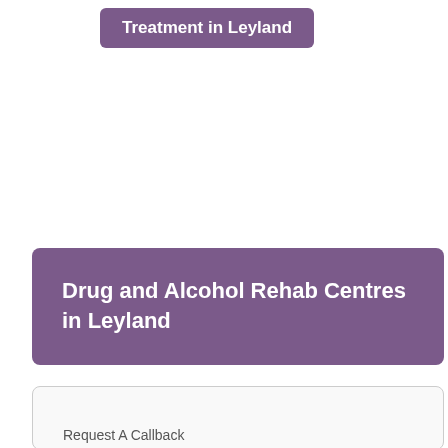Treatment in Leyland
Drug and Alcohol Rehab Centres in Leyland
Request A Callback